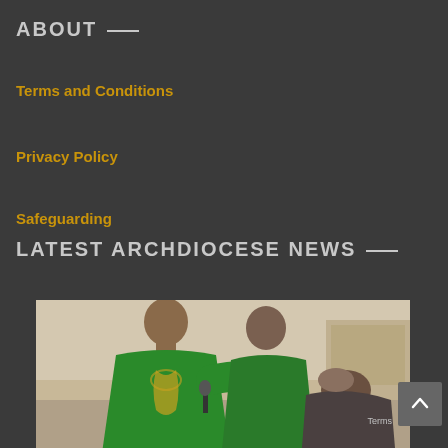ABOUT
Terms and Conditions
Privacy Policy
Safeguarding
LATEST ARCHDIOCESE NEWS
[Figure (photo): A priest in a green vestment performing a blessing or religious ceremony, with another smiling man in green vestments behind him, and a third person bowing their head to receive a blessing, in an indoor room setting.]